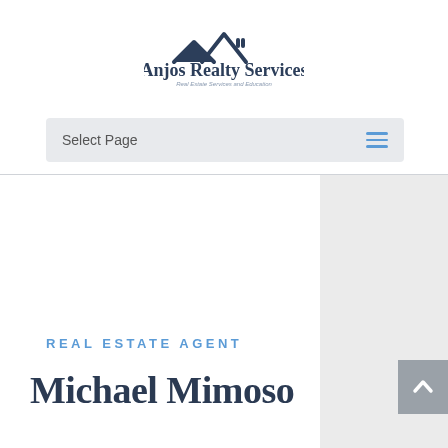[Figure (logo): Anjos Realty Services logo with a house roofline icon above the text 'Anjos Realty Services' and tagline 'Real Estate Services and Education']
Select Page
REAL ESTATE AGENT
Michael Mimoso